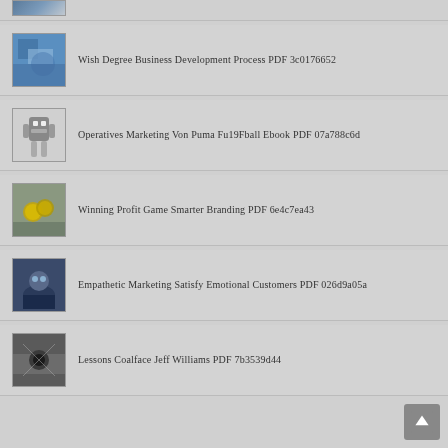[Figure (photo): Partial thumbnail image at top of list]
Wish Degree Business Development Process PDF 3c0176652
Operatives Marketing Von Puma Fu19Fball Ebook PDF 07a788c6d
Winning Profit Game Smarter Branding PDF 6e4c7ea43
Empathetic Marketing Satisfy Emotional Customers PDF 026d9a05a
Lessons Coalface Jeff Williams PDF 7b3539d44